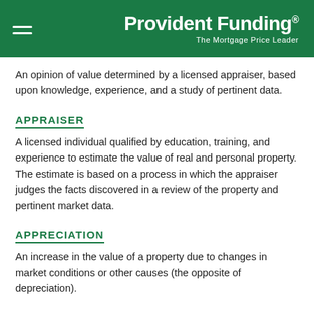Provident Funding® — The Mortgage Price Leader
An opinion of value determined by a licensed appraiser, based upon knowledge, experience, and a study of pertinent data.
APPRAISER
A licensed individual qualified by education, training, and experience to estimate the value of real and personal property. The estimate is based on a process in which the appraiser judges the facts discovered in a review of the property and pertinent market data.
APPRECIATION
An increase in the value of a property due to changes in market conditions or other causes (the opposite of depreciation).
APPROVAL